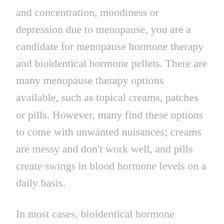and concentration, moodiness or depression due to menopause, you are a candidate for menopause hormone therapy and bioidentical hormone pellets. There are many menopause therapy options available, such as topical creams, patches or pills. However, many find these options to come with unwanted nuisances; creams are messy and don't work well, and pills create swings in blood hormone levels on a daily basis.
In most cases, bioidentical hormone replacement pellets are the most effective choice. In the natural pre-menopausal state,